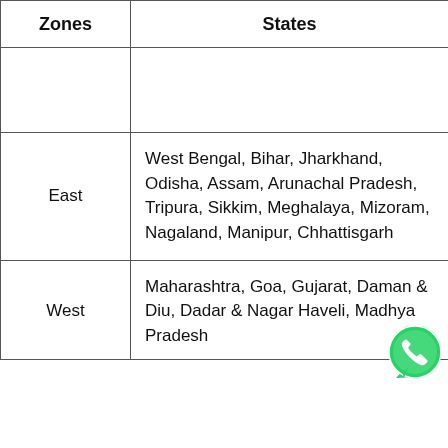| Zones | States |
| --- | --- |
|  |  |
| East | West Bengal, Bihar, Jharkhand, Odisha, Assam, Arunachal Pradesh, Tripura, Sikkim, Meghalaya, Mizoram, Nagaland, Manipur, Chhattisgarh |
| West | Maharashtra, Goa, Gujarat, Daman & Diu, Dadar & Nagar Haveli, Madhya Pradesh |